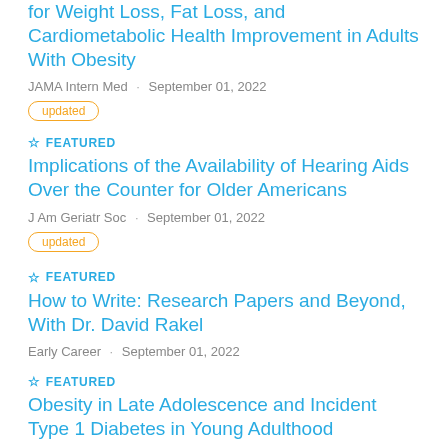for Weight Loss, Fat Loss, and Cardiometabolic Health Improvement in Adults With Obesity
JAMA Intern Med · September 01, 2022
updated
☆ FEATURED
Implications of the Availability of Hearing Aids Over the Counter for Older Americans
J Am Geriatr Soc · September 01, 2022
updated
☆ FEATURED
How to Write: Research Papers and Beyond, With Dr. David Rakel
Early Career · September 01, 2022
☆ FEATURED
Obesity in Late Adolescence and Incident Type 1 Diabetes in Young Adulthood
Diabetologia · September 01, 2022